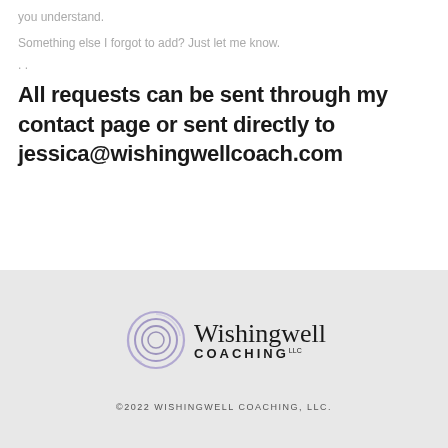you understand.
Something else I forgot to add? Just let me know.
. .
All requests can be sent through my contact page or sent directly to jessica@wishingwellcoach.com
[Figure (logo): Wishingwell Coaching LLC logo with circular swirl graphic and script/sans-serif text]
©2022 WISHINGWELL COACHING, LLC.